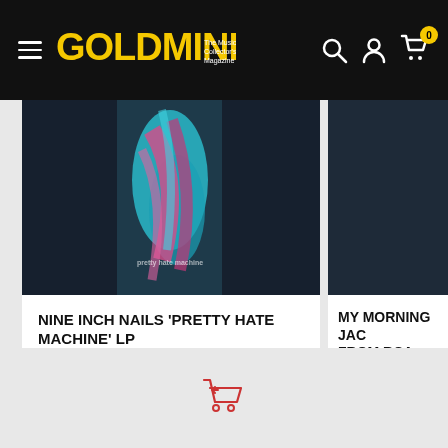GOLDMINE The Music Collector's Magazine
[Figure (photo): Partial album cover art for Nine Inch Nails 'Pretty Hate Machine' LP — dark navy background with abstract teal and pink graphic design]
NINE INCH NAILS 'PRETTY HATE MACHINE' LP
$27.00
In stock
MY MORNING JAC... FROM RCA STUDI...
$21.00
In stock
[Figure (illustration): Red shopping cart with return/back arrow icon]